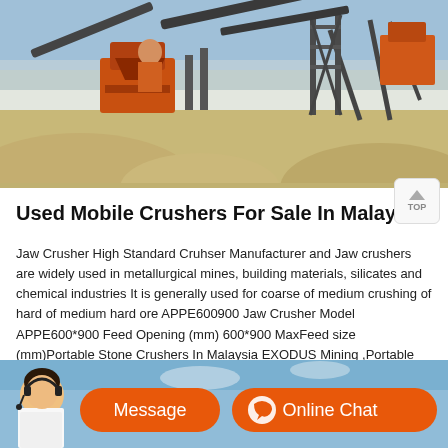[Figure (photo): Industrial mobile crusher/mining equipment at a sand quarry site with conveyor belts, orange crusher machinery, steel support structures, and large sand piles in the foreground and background.]
Used Mobile Crushers For Sale In Malaysia
Jaw Crusher High Standard Cruhser Manufacturer and Jaw crushers are widely used in metallurgical mines, building materials, silicates and chemical industries It is generally used for coarse of medium crushing of hard of medium hard ore APPE600900 Jaw Crusher Model APPE600*900 Feed Opening (mm) 600*900 MaxFeed size (mm)Portable Stone Crushers In Malaysia EXODUS Mining ,Portable
[Figure (photo): Bottom banner showing a customer service representative with headset on a blue sky background, with orange Message and Online Chat buttons.]